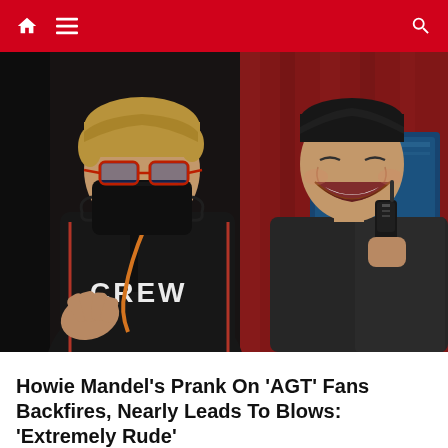Navigation bar with home, menu, and search icons
[Figure (photo): Two people: on the left, a person wearing a black mask, glasses, and a black crew jacket with 'CREW' written on it, with an orange lanyard; on the right, a man (resembling Simon Cowell) laughing and holding a walkie-talkie, seated against a blue and red background.]
Howie Mandel's Prank On 'AGT' Fans Backfires, Nearly Leads To Blows: 'Extremely Rude'
August 25, 2022   Admin
At this point, tricks are a custom on America's Got Talent. For